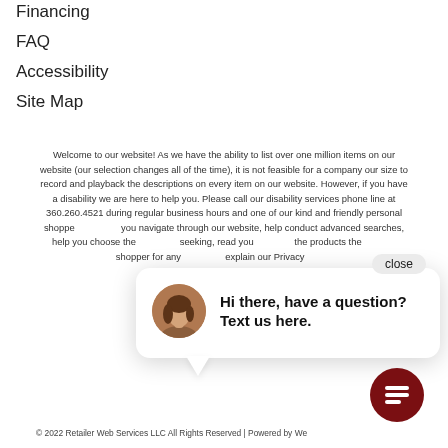Financing
FAQ
Accessibility
Site Map
Welcome to our website! As we have the ability to list over one million items on our website (our selection changes all of the time), it is not feasible for a company our size to record and playback the descriptions on every item on our website. However, if you have a disability we are here to help you. Please call our disability services phone line at 360.260.4521 during regular business hours and one of our kind and friendly personal shoppers will help you navigate through our website, help conduct advanced searches, help you choose the item you are looking for with the specifications you are seeking, read you the specifications of any item and consult with you about the products themselves. There is no charge for the help of this personal shopper for any American with a disability. Finally, your personal shopper will explain our Privacy Policy and Terms of Service, and help you place an order if you so desire.
[Figure (screenshot): Live chat popup with avatar photo of a woman and text: Hi there, have a question? Text us here. Close button visible top right of popup. Dark red circular chat icon button at bottom right.]
© 2022 Retailer Web Services LLC All Rights Reserved | Powered by Web...